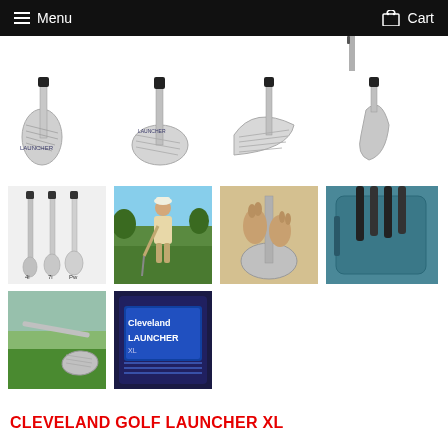Menu  Cart
[Figure (photo): Golf iron club front view, silver/chrome finish with dark grip – Cleveland Golf Launcher XL]
[Figure (photo): Golf iron club angled view, silver finish with dark grip]
[Figure (photo): Golf iron club top-down side view, silver finish]
[Figure (photo): Golf iron club single view from back/heel angle]
[Figure (photo): Three golf irons side by side labeled 4i, 7i, Pw]
[Figure (photo): Golfer in khaki outfit standing on golf course holding a club]
[Figure (photo): Close-up of hands gripping a golf club iron head]
[Figure (photo): Close-up of golf club in golf bag – teal/turquoise fabric]
[Figure (photo): Golf iron club on grass – outdoor course photo]
[Figure (photo): Close-up of Cleveland Launcher XL iron club face showing blue insert and branding]
CLEVELAND GOLF LAUNCHER XL